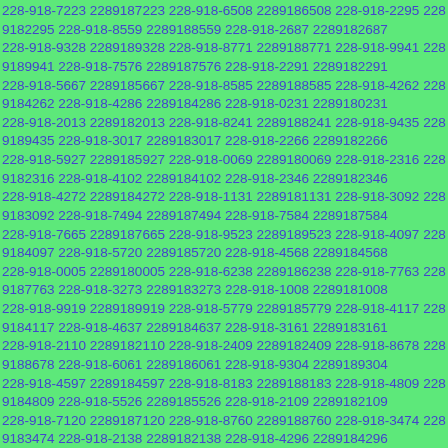228-918-7223 2289187223 228-918-6508 2289186508 228-918-2295 2289182295 228-918-8559 2289188559 228-918-2687 2289182687 228-918-9328 2289189328 228-918-8771 2289188771 228-918-9941 2289189941 228-918-7576 2289187576 228-918-2291 2289182291 228-918-5667 2289185667 228-918-8585 2289188585 228-918-4262 2289184262 228-918-4286 2289184286 228-918-0231 2289180231 228-918-2013 2289182013 228-918-8241 2289188241 228-918-9435 2289189435 228-918-3017 2289183017 228-918-2266 2289182266 228-918-5927 2289185927 228-918-0069 2289180069 228-918-2316 2289182316 228-918-4102 2289184102 228-918-2346 2289182346 228-918-4272 2289184272 228-918-1131 2289181131 228-918-3092 2289183092 228-918-7494 2289187494 228-918-7584 2289187584 228-918-7665 2289187665 228-918-9523 2289189523 228-918-4097 2289184097 228-918-5720 2289185720 228-918-4568 2289184568 228-918-0005 2289180005 228-918-6238 2289186238 228-918-7763 2289187763 228-918-3273 2289183273 228-918-1008 2289181008 228-918-9919 2289189919 228-918-5779 2289185779 228-918-4117 2289184117 228-918-4637 2289184637 228-918-3161 2289183161 228-918-2110 2289182110 228-918-2409 2289182409 228-918-8678 2289188678 228-918-6061 2289186061 228-918-9304 2289189304 228-918-4597 2289184597 228-918-8183 2289188183 228-918-4809 2289184809 228-918-5526 2289185526 228-918-2109 2289182109 228-918-7120 2289187120 228-918-8760 2289188760 228-918-3474 2289183474 228-918-2138 2289182138 228-918-4296 2289184296 228-918-2416 2289182416 228-918-4680 2289184680 228-918-3660